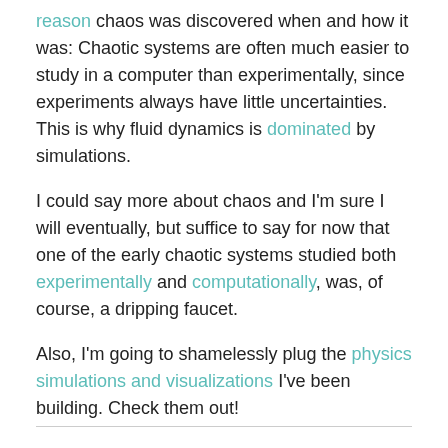other hand, the advent of fast computers was one reason chaos was discovered when and how it was: Chaotic systems are often much easier to study in a computer than experimentally, since experiments always have little uncertainties. This is why fluid dynamics is dominated by simulations.
I could say more about chaos and I'm sure I will eventually, but suffice to say for now that one of the early chaotic systems studied both experimentally and computationally, was, of course, a dripping faucet.
Also, I'm going to shamelessly plug the physics simulations and visualizations I've been building. Check them out!